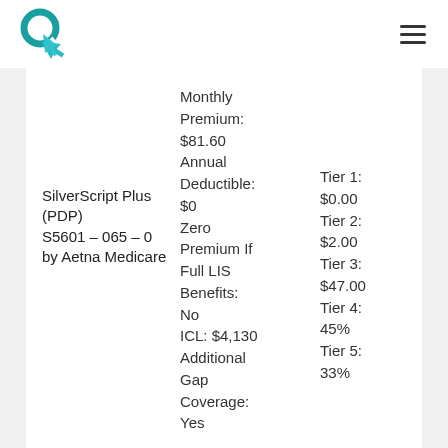SilverScript Plus (PDP) S5601 – 065 – 0 by Aetna Medicare
Monthly Premium: $81.60
Annual Deductible: $0
Zero Premium If Full LIS Benefits: No
ICL: $4,130
Additional Gap Coverage: Yes
Tier 1: $0.00
Tier 2: $2.00
Tier 3: $47.00
Tier 4: 45%
Tier 5: 33%